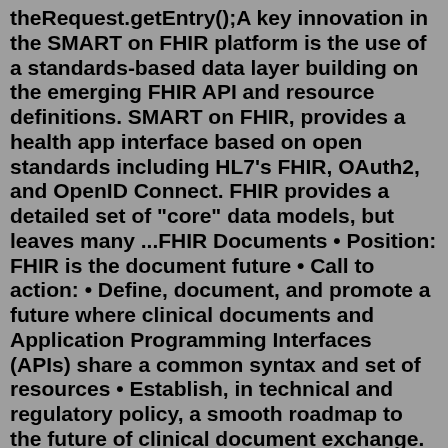theRequest.getEntry();A key innovation in the SMART on FHIR platform is the use of a standards-based data layer building on the emerging FHIR API and resource definitions. SMART on FHIR, provides a health app interface based on open standards including HL7's FHIR, OAuth2, and OpenID Connect. FHIR provides a detailed set of "core" data models, but leaves many ...FHIR Documents • Position: FHIR is the document future • Call to action: • Define, document, and promote a future where clinical documents and Application Programming Interfaces (APIs) share a common syntax and set of resources • Establish, in technical and regulatory policy, a smooth roadmap to the future of clinical document exchange. 10.The publishing XIS or convertor executes a HTTP POST request of a Bundle with Bundle.type = transaction to the target's base endpoint. ... FHIR Document Bundles can be retrieved by a HTTP GET request to the FHIR server's Bundle endpoint. Note that FHIR Document Bundles are immutable and its entries